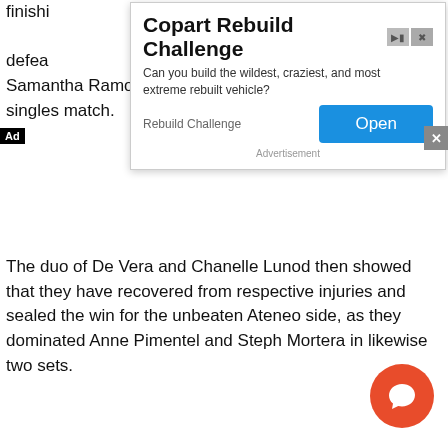finishing … Geva … after defeating … before Samantha Ramos brought down Elij Pena in the following singles match.
[Figure (other): Advertisement overlay: Copart Rebuild Challenge — 'Can you build the wildest, craziest, and most extreme rebuilt vehicle?' with an Open button and Rebuild Challenge label.]
The duo of De Vera and Chanelle Lunod then showed that they have recovered from respective injuries and sealed the win for the unbeaten Ateneo side, as they dominated Anne Pimentel and Steph Mortera in likewise two sets.
Ramos and Bea Felizardo teamed up in drubbing Tating and Pena in the second doubles, as last year's top rookie Alyssa Roxas was equally dominant in her win over Mortera.
The National University Lady Bulldogs (3-1) also